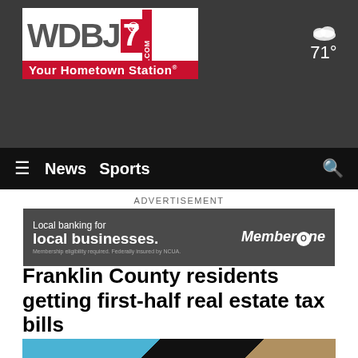[Figure (screenshot): WDBJ7 TV station website header with logo showing 'WDBJ7.com Your Hometown Station' and weather showing 71 degrees with cloudy icon]
[Figure (screenshot): Navigation bar with hamburger menu, News and Sports links, and search icon on dark background]
ADVERTISEMENT
[Figure (screenshot): MemberOne Federal Credit Union advertisement banner: 'Local banking for local businesses. Membership eligibility required. Federally insured by NCUA.']
Franklin County residents getting first-half real estate tax bills
[Figure (photo): Partial view of article image at bottom of page, appears to show a circular logo or seal on blue background]